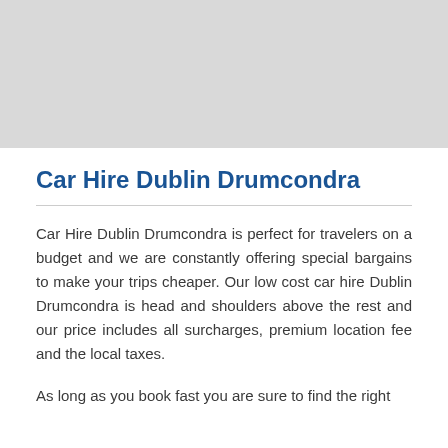[Figure (other): Gray placeholder rectangle at the top of the page]
Car Hire Dublin Drumcondra
Car Hire Dublin Drumcondra is perfect for travelers on a budget and we are constantly offering special bargains to make your trips cheaper. Our low cost car hire Dublin Drumcondra is head and shoulders above the rest and our price includes all surcharges, premium location fee and the local taxes.
As long as you book fast you are sure to find the right